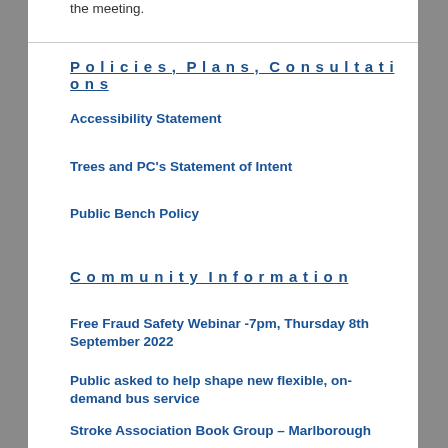the meeting.
Policies, Plans, Consultations
Accessibility Statement
Trees and PC's Statement of Intent
Public Bench Policy
Community Information
Free Fraud Safety Webinar -7pm, Thursday 8th September 2022
Public asked to help shape new flexible, on-demand bus service
Stroke Association Book Group – Marlborough